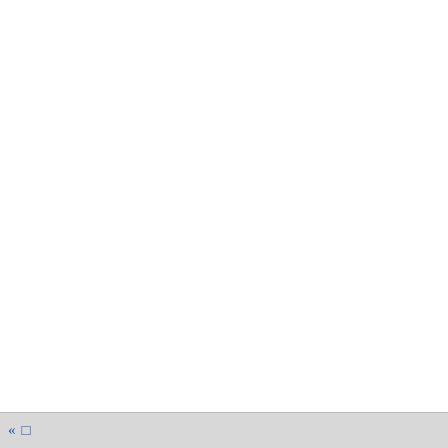Thus Bruce said: the baron
Half-listening heard him w
Then turned to Lady Gerald
His eyes made up of wonde
And said in courtly accents
" Sweet maid, Lord Roland
With arms more strong than
Thy sire and I will crush the
He kissed her forehead as h
And Geraldine, in maiden w
Casting down her large brig
With blushing cheek and co
She turned her from Sir Leo
Softly gathering up her train
That o'er her right arm fell a
And folded her arms across
And couched her head upon
And looked askance at Chri
Jesu Maria, shield her well!

A snake's small eye blinks d
And the lady's eyes they sh
« []